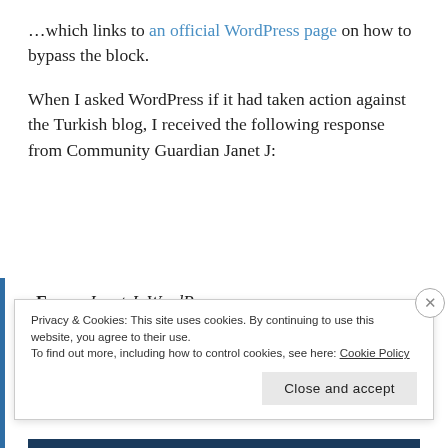…which links to an official WordPress page on how to bypass the block.
When I asked WordPress if it had taken action against the Turkish blog, I received the following response from Community Guardian Janet J:
From: Janet J  WordPress.com <tosreports@wordpress.com>
To: **** <****@aol.com>
Privacy & Cookies: This site uses cookies. By continuing to use this website, you agree to their use.
To find out more, including how to control cookies, see here: Cookie Policy